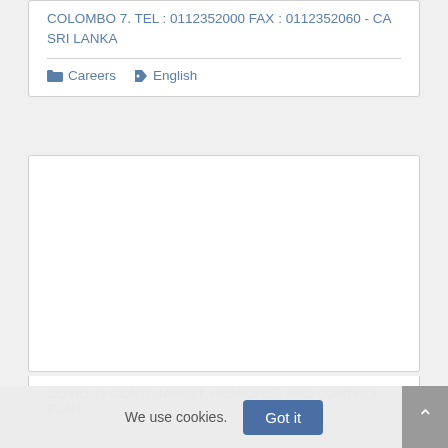COLOMBO 7. TEL : 0112352000 FAX : 0112352060 - CA SRI LANKA
Careers   English
[Figure (other): Empty white content box / embedded media placeholder]
COVID-19 CONTAINMENT, RESPONSE AND CONTROL PLAN -
We use cookies.
Got it